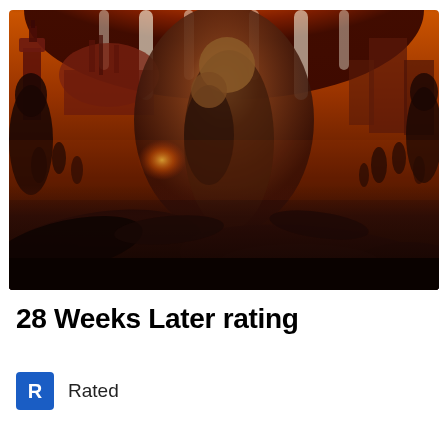[Figure (photo): Movie poster for 28 Weeks Later showing two survivors (a woman and child) huddling together amid chaos in London with burning cityscape, Big Ben silhouette, running infected figures, and bodies in the foreground]
28 Weeks Later rating
R  Rated